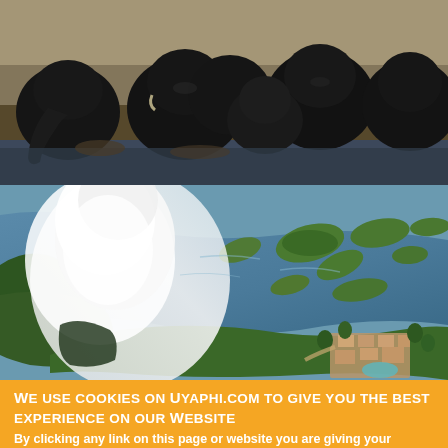[Figure (photo): Group of dark-colored elephants at a waterhole or river bank, viewed from ground level. Multiple elephants clustered together, trunks visible, muddy water in foreground.]
[Figure (photo): Aerial photograph of Victoria Falls area showing massive white water spray/mist plume on the left side, and the Zambezi River with green islands spreading across a wide river delta on the right. A lodge or resort complex is visible in the lower right corner.]
We use cookies on Uyaphi.com to give you the best experience on our website
By clicking any link on this page or website you are giving your consent for us to set cookies.